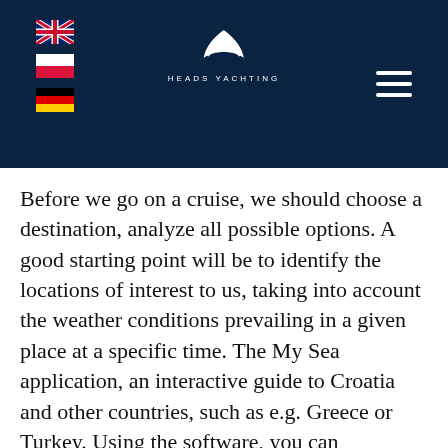[Figure (logo): Heads Yachting website header with dark navy background, UK/Poland/Germany flag icons on the left, a sailing yacht logo with 'HEADS YACHTING' text in the center, and a hamburger menu icon on the right]
Before we go on a cruise, we should choose a destination, analyze all possible options. A good starting point will be to identify the locations of interest to us, taking into account the weather conditions prevailing in a given place at a specific time. The My Sea application, an interactive guide to Croatia and other countries, such as e.g. Greece or Turkey. Using the software, you can efficiently book a parking space, find information about beaches, supermarkets, restaurants or tourist attractions.